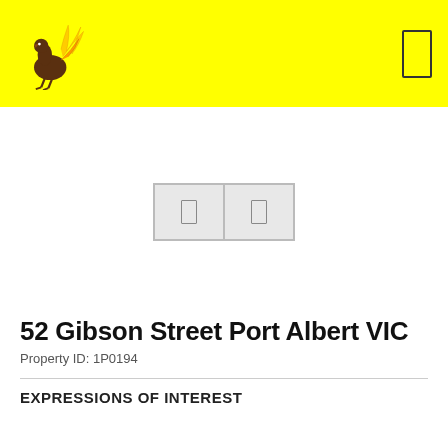52 Gibson Street Port Albert VIC — Agency header with bird logo
[Figure (photo): Property photo placeholder with two thumbnail image icons on white background]
52 Gibson Street Port Albert VIC
Property ID: 1P0194
EXPRESSIONS OF INTEREST